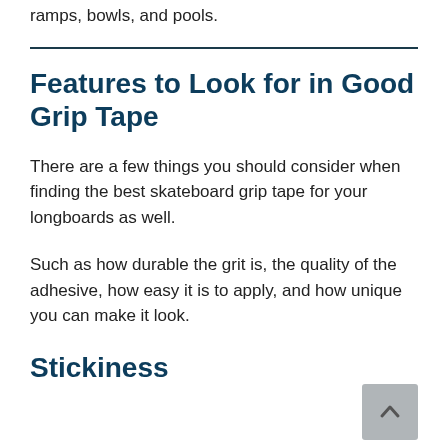ramps, bowls, and pools.
Features to Look for in Good Grip Tape
There are a few things you should consider when finding the best skateboard grip tape for your longboards as well.
Such as how durable the grit is, the quality of the adhesive, how easy it is to apply, and how unique you can make it look.
Stickiness